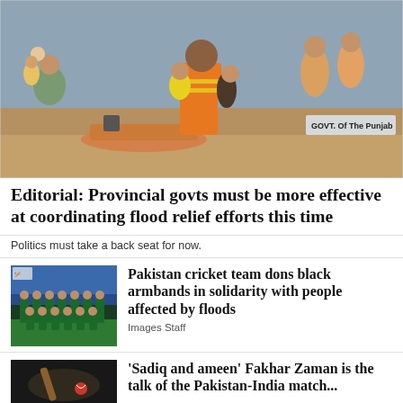[Figure (photo): A rescue worker in an orange safety vest carries two children during flood rescue operations. Several people and a boat are visible in the background near muddy floodwaters. A sign reading 'GOVT. Of The Punjab' is visible.]
Editorial: Provincial govts must be more effective at coordinating flood relief efforts this time
Politics must take a back seat for now.
[Figure (photo): Pakistan cricket team posing for a group photo in green uniforms on a cricket ground with stands in the background.]
Pakistan cricket team dons black armbands in solidarity with people affected by floods
Images Staff
[Figure (photo): Cricket bat and ball close-up on the pitch.]
'Sadiq and ameen' Fakhar Zaman is the talk of the Pakistan-India match...